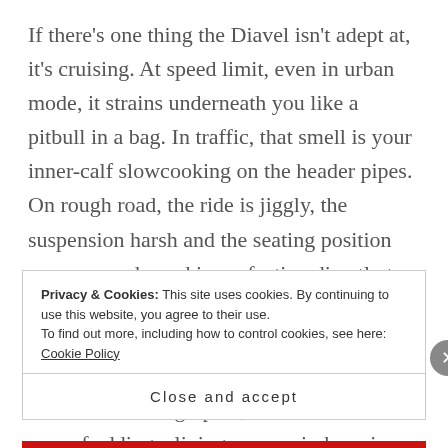If there's one thing the Diavel isn't adept at, it's cruising. At speed limit, even in urban mode, it strains underneath you like a pitbull in a bag. In traffic, that smell is your inner-calf slowcooking on the header pipes. On rough road, the ride is jiggly, the suspension harsh and the seating position conveys each road imperfection directly to the base of your spine. You, may be surprised to note in the cornering shots that the Diavel has rear suspension. Worse for the cruiser demographic, there's no realistic way of adding a living-room window size screen, ineffective leather saddle
Privacy & Cookies: This site uses cookies. By continuing to use this website, you agree to their use.
To find out more, including how to control cookies, see here: Cookie Policy
Close and accept